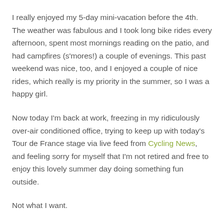I really enjoyed my 5-day mini-vacation before the 4th. The weather was fabulous and I took long bike rides every afternoon, spent most mornings reading on the patio, and had campfires (s'mores!) a couple of evenings. This past weekend was nice, too, and I enjoyed a couple of nice rides, which really is my priority in the summer, so I was a happy girl.
Now today I'm back at work, freezing in my ridiculously over-air conditioned office, trying to keep up with today's Tour de France stage via live feed from Cycling News, and feeling sorry for myself that I'm not retired and free to enjoy this lovely summer day doing something fun outside.
Not what I want.
Tonight when I get home I may have time for a short ride, but